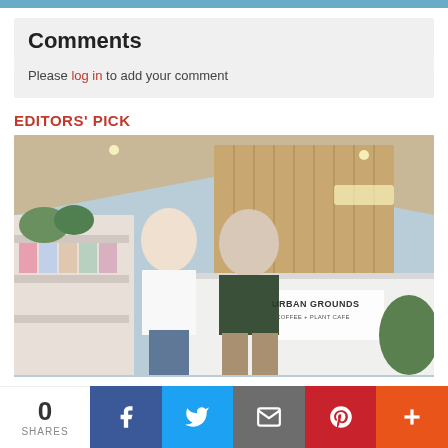Comments
Please log in to add your comment
EDITORS' PICK
[Figure (photo): Two women standing inside Urban Grounds Coffee + Plant Cafe, a bright modern cafe with wood-paneled ceiling, shelves of products and plants visible behind them. The logo 'URBAN GROUNDS COFFEE + PLANT CAFE' is visible on the white counter to the right.]
0 SHARES